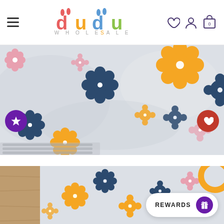dudu WHOLESALE — navigation header with hamburger menu, logo, heart icon, account icon, cart icon (0)
[Figure (photo): Close-up of white fabric with colorful floral print featuring orange, pink, dark navy/blue flowers with white centers; elastic waist visible at bottom left; purple star button overlay on left, red heart button overlay on right]
[Figure (photo): Close-up of floral printed white fabric with orange, pink, dark navy flowers on wooden surface; yellow/orange circular trim visible at top right; REWARDS button overlay at bottom right]
REWARDS